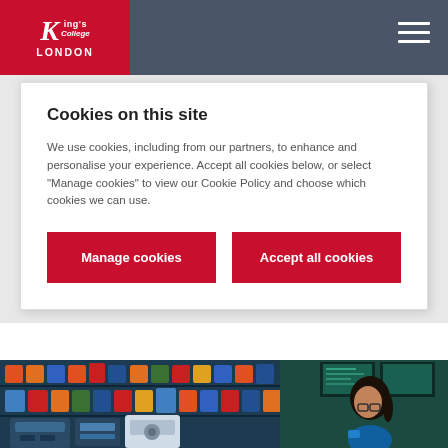King's College London
Cookies on this site
We use cookies, including from our partners, to enhance and personalise your experience. Accept all cookies below, or select "Manage cookies" to view our Cookie Policy and choose which cookies we can use.
Manage cookies | Accept all cookies
Our world-class research and teaching is supported and enhanced by our strong partnerships and...
[Figure (photo): Laboratory scene with equipment, colorful containers, and a researcher (woman with dark hair in ponytail, wearing glasses)]